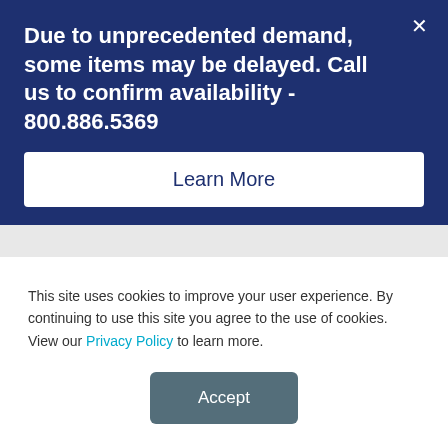Due to unprecedented demand, some items may be delayed. Call us to confirm availability - 800.886.5369
Learn More
Disk Director
Monitoring Service
Cyber Backup to Cloud
View all Products
Resources:
This site uses cookies to improve your user experience. By continuing to use this site you agree to the use of cookies. View our Privacy Policy to learn more.
Accept